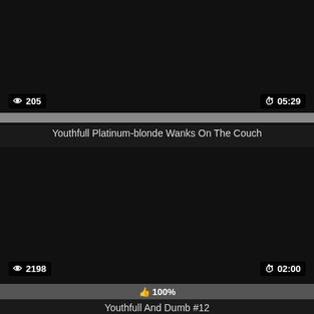[Figure (screenshot): Video thumbnail for 'Youthfull Platinum-blonde Wanks On The Couch' showing view count 205 and duration 05:29 with a progress bar]
Youthfull Platinum-blonde Wanks On The Couch
[Figure (screenshot): Video thumbnail for 'Youthfull And Dumb #12' showing view count 2198 and duration 02:00 with 100% like bar]
Youthfull And Dumb #12